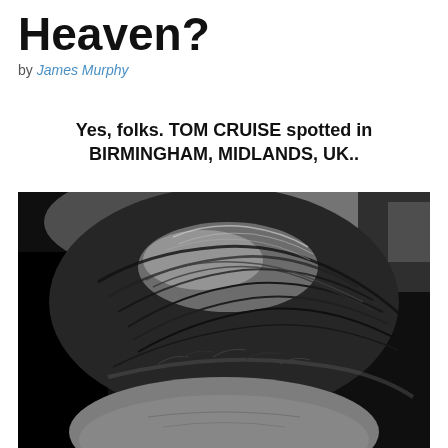Heaven?
by James Murphy
Yes, folks. TOM CRUISE spotted in BIRMINGHAM, MIDLANDS, UK..
[Figure (photo): Black and white close-up photograph showing the top of a man's head with dark hair, viewed from slightly above. The hair is thick, styled back, with visible texture. The forehead and part of the brow are visible at the bottom. Dark background.]